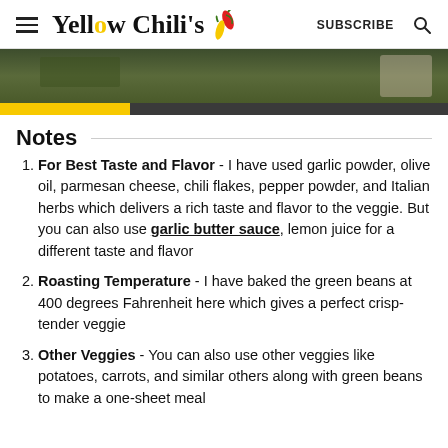Yellow Chili's  SUBSCRIBE
[Figure (photo): Partial view of roasted green beans on a dark tray, with a yellow bar at the bottom left and a hand visible at the right edge]
Notes
For Best Taste and Flavor - I have used garlic powder, olive oil, parmesan cheese, chili flakes, pepper powder, and Italian herbs which delivers a rich taste and flavor to the veggie. But you can also use garlic butter sauce, lemon juice for a different taste and flavor
Roasting Temperature - I have baked the green beans at 400 degrees Fahrenheit here which gives a perfect crisp-tender veggie
Other Veggies - You can also use other veggies like potatoes, carrots, and similar others along with green beans to make a one-sheet meal